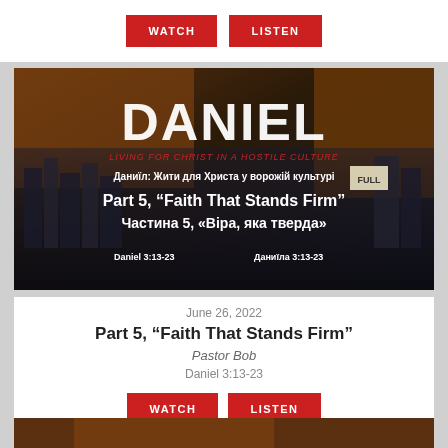[Figure (screenshot): WATCH and LISTEN red buttons on white background at top]
[Figure (photo): Daniel series banner image: lion head with city skyline, text reads 'DANIEL Living for Christ in a Hostile Culture', Ukrainian subtitle 'Даниїл: Жити для Христа у ворожій культурі', Part 5 Faith That Stands Firm, Частина 5 Віра яка тверда, Daniel 3:13-23, Даниїла 3:13-23]
June 26, 2022
Part 5, “Faith That Stands Firm”
Pastor Bob
Daniel 3:13-23
[Figure (screenshot): WATCH and LISTEN red buttons on white background at bottom of card]
[Figure (photo): Partial lion image at bottom of page]